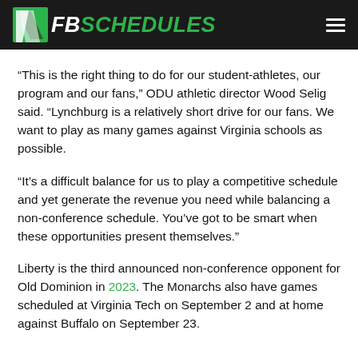FBSCHEDULES
“This is the right thing to do for our student-athletes, our program and our fans,” ODU athletic director Wood Selig said. “Lynchburg is a relatively short drive for our fans. We want to play as many games against Virginia schools as possible.
“It’s a difficult balance for us to play a competitive schedule and yet generate the revenue you need while balancing a non-conference schedule. You’ve got to be smart when these opportunities present themselves.”
Liberty is the third announced non-conference opponent for Old Dominion in 2023. The Monarchs also have games scheduled at Virginia Tech on September 2 and at home against Buffalo on September 23.